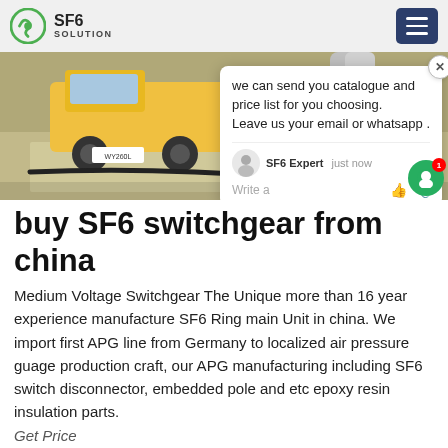SF6 SOLUTION
[Figure (photo): Outdoor industrial site with a yellow vehicle and large metal pipe/duct infrastructure on a concrete platform]
buy SF6 switchgear from china
Medium Voltage Switchgear The Unique more than 16 year experience manufacture SF6 Ring main Unit in china. We import first APG line from Germany to localized air pressure guage production craft, our APG manufacturing including SF6 switch disconnector, embedded pole and etc epoxy resin insulation parts.
Get Price